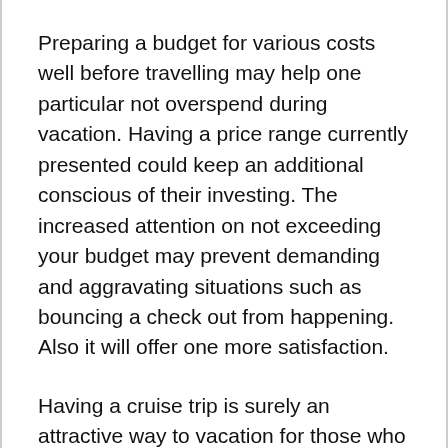Preparing a budget for various costs well before travelling may help one particular not overspend during vacation. Having a price range currently presented could keep an additional conscious of their investing. The increased attention on not exceeding your budget may prevent demanding and aggravating situations such as bouncing a check out from happening. Also it will offer one more satisfaction.
Having a cruise trip is surely an attractive way to vacation for those who wish to visit numerous places. They may do it and never have to push their selves or have the irritation of different airplanes or trains. Luxury cruises also provide an